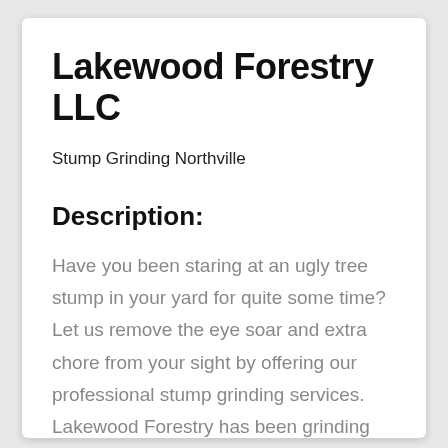Lakewood Forestry LLC
Stump Grinding Northville
Description:
Have you been staring at an ugly tree stump in your yard for quite some time? Let us remove the eye soar and extra chore from your sight by offering our professional stump grinding services. Lakewood Forestry has been grinding tree stumps for over 30 years. We have the experience and knowledge to do a great job for any homeowner or business that needs a stump ground. This allows us to efficiently get to you often within 1-2 days. Our company has been a trusted resource for 3 decades and we take the quality